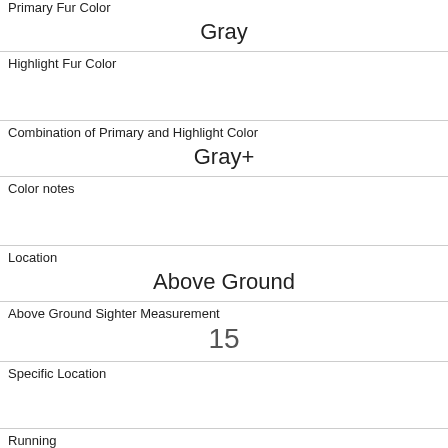| Primary Fur Color | Gray |
| Highlight Fur Color |  |
| Combination of Primary and Highlight Color | Gray+ |
| Color notes |  |
| Location | Above Ground |
| Above Ground Sighter Measurement | 15 |
| Specific Location |  |
| Running | 1 |
| Chasing | 1 |
| Climbing | 0 |
| Eating |  |